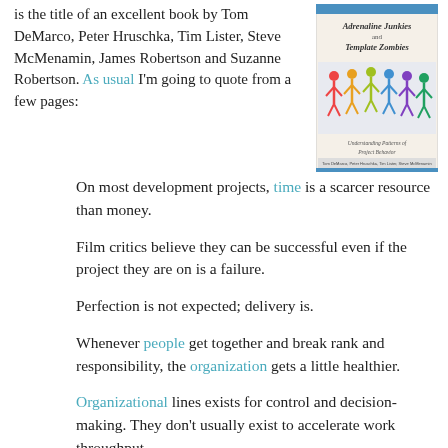is the title of an excellent book by Tom DeMarco, Peter Hruschka, Tim Lister, Steve McMenamin, James Robertson and Suzanne Robertson. As usual I'm going to quote from a few pages:
[Figure (illustration): Book cover of 'Adrenaline Junkies and Template Zombies: Understanding Patterns of Project Behavior' by Tom DeMarco, Peter Hruschka, Tim Lister, Steve McMenamin, James Robertson, Suzanne Robertson]
On most development projects, time is a scarcer resource than money.
Film critics believe they can be successful even if the project they are on is a failure.
Perfection is not expected; delivery is.
Whenever people get together and break rank and responsibility, the organization gets a little healthier.
Organizational lines exists for control and decision-making. They don't usually exist to accelerate work throughput.
Reality is king.